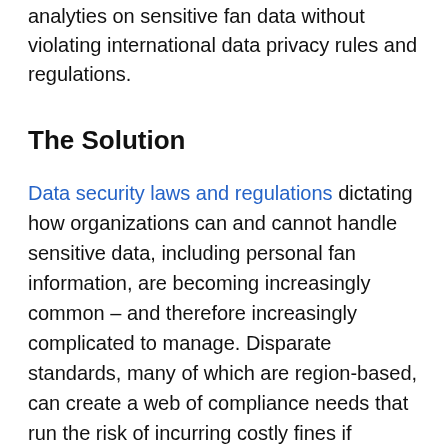analyties on sensitive fan data without violating international data privacy rules and regulations.
The Solution
Data security laws and regulations dictating how organizations can and cannot handle sensitive data, including personal fan information, are becoming increasingly common – and therefore increasingly complicated to manage. Disparate standards, many of which are region-based, can create a web of compliance needs that run the risk of incurring costly fines if violated. Pumpjack Data...